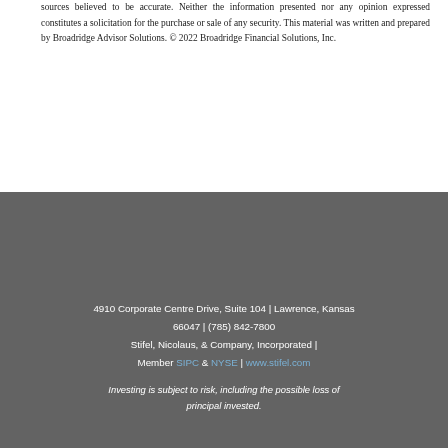sources believed to be accurate. Neither the information presented nor any opinion expressed constitutes a solicitation for the purchase or sale of any security. This material was written and prepared by Broadridge Advisor Solutions. © 2022 Broadridge Financial Solutions, Inc.
4910 Corporate Centre Drive, Suite 104 | Lawrence, Kansas 66047 | (785) 842-7800
Stifel, Nicolaus, & Company, Incorporated |
Member SIPC & NYSE | www.stifel.com
Investing is subject to risk, including the possible loss of principal invested.